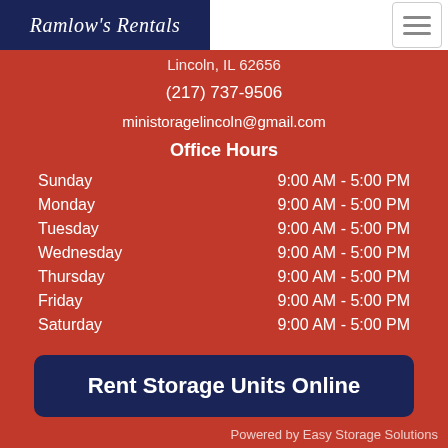Ramlow's Rentals
Lincoln, IL 62656
(217) 737-9506
ministoragelincoln@gmail.com
Office Hours
| Day | Hours |
| --- | --- |
| Sunday | 9:00 AM - 5:00 PM |
| Monday | 9:00 AM - 5:00 PM |
| Tuesday | 9:00 AM - 5:00 PM |
| Wednesday | 9:00 AM - 5:00 PM |
| Thursday | 9:00 AM - 5:00 PM |
| Friday | 9:00 AM - 5:00 PM |
| Saturday | 9:00 AM - 5:00 PM |
Rent Storage Units Online
Powered by Easy Storage Solutions